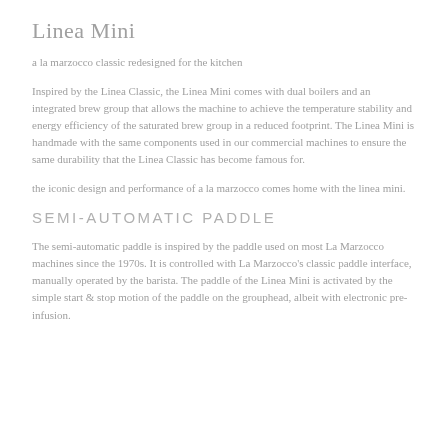Linea Mini
a la marzocco classic redesigned for the kitchen
Inspired by the Linea Classic, the Linea Mini comes with dual boilers and an integrated brew group that allows the machine to achieve the temperature stability and energy efficiency of the saturated brew group in a reduced footprint. The Linea Mini is handmade with the same components used in our commercial machines to ensure the same durability that the Linea Classic has become famous for.
the iconic design and performance of a la marzocco comes home with the linea mini.
SEMI-AUTOMATIC PADDLE
The semi-automatic paddle is inspired by the paddle used on most La Marzocco machines since the 1970s. It is controlled with La Marzocco's classic paddle interface, manually operated by the barista. The paddle of the Linea Mini is activated by the simple start & stop motion of the paddle on the grouphead, albeit with electronic pre-infusion.